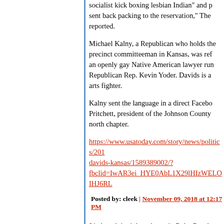socialist kick boxing lesbian Indian" and p... sent back packing to the reservation," The... reported.
Michael Kalny, a Republican who holds the... precinct committeeman in Kansas, was ref... an openly gay Native American lawyer run... Republican Rep. Kevin Yoder. Davids is a... arts fighter.
Kalny sent the language in a direct Facebo... Pritchett, president of the Johnson County... north chapter.
https://www.usatoday.com/story/news/politics/201... davids-kansas/1589389002/? fbclid=IwAR3ei_HYE0AbL1X29lHIzWELOIHJ6RL...
Posted by: cleek | November 09, 2018 at 12:17 PM
Limbaugh is right at home in Palm Beach.
Personally, I suspect Limbaugh votes Democratic...
First, it makes his shtick easier when the Democr...